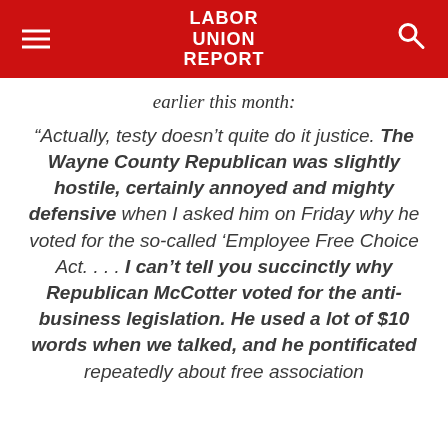LABOR UNION REPORT
earlier this month:
“Actually, testy doesn’t quite do it justice. The Wayne County Republican was slightly hostile, certainly annoyed and mighty defensive when I asked him on Friday why he voted for the so-called ‘Employee Free Choice Act. . . . I can’t tell you succinctly why Republican McCotter voted for the anti-business legislation. He used a lot of $10 words when we talked, and he pontificated repeatedly about free association